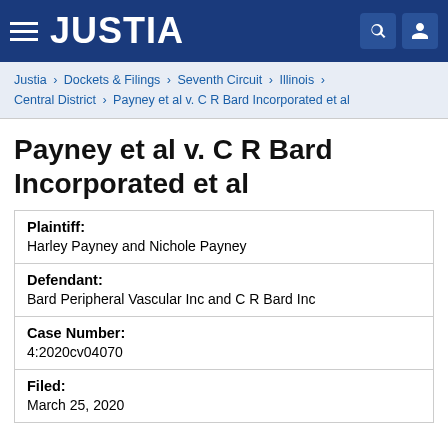JUSTIA
Justia › Dockets & Filings › Seventh Circuit › Illinois › Central District › Payney et al v. C R Bard Incorporated et al
Payney et al v. C R Bard Incorporated et al
| Field | Value |
| --- | --- |
| Plaintiff: | Harley Payney and Nichole Payney |
| Defendant: | Bard Peripheral Vascular Inc and C R Bard Inc |
| Case Number: | 4:2020cv04070 |
| Filed: | March 25, 2020 |